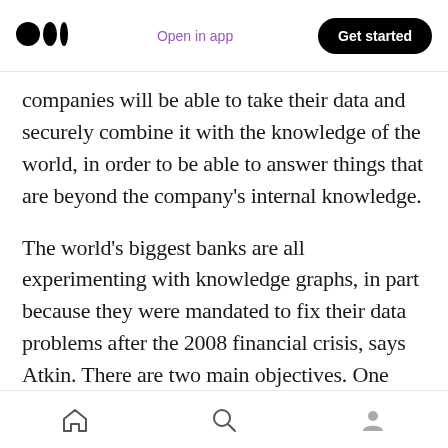Open in app | Get started
companies will be able to take their data and securely combine it with the knowledge of the world, in order to be able to answer things that are beyond the company’s internal knowledge.
The world’s biggest banks are all experimenting with knowledge graphs, in part because they were mandated to fix their data problems after the 2008 financial crisis, says Atkin. There are two main objectives. One involves control functions such as inventory management, employee connection, data processes, governance, quality requirements and
Home | Search | Profile